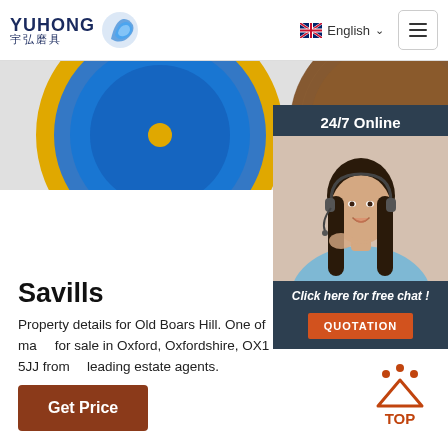YUHONG 宇弘磨具 — English
[Figure (photo): Partial view of abrasive grinding discs — blue/yellow and brown colored discs visible]
[Figure (photo): 24/7 Online customer service panel with photo of smiling woman with headset, 'Click here for free chat!' text, and QUOTATION button]
Savills
Property details for Old Boars Hill. One of many properties for sale in Oxford, Oxfordshire, OX1 5JJ from leading estate agents.
[Figure (illustration): Get Price button — dark brown/red rounded rectangle button]
[Figure (illustration): TOP navigation arrow icon in orange/red with dots above, with 'TOP' text below]